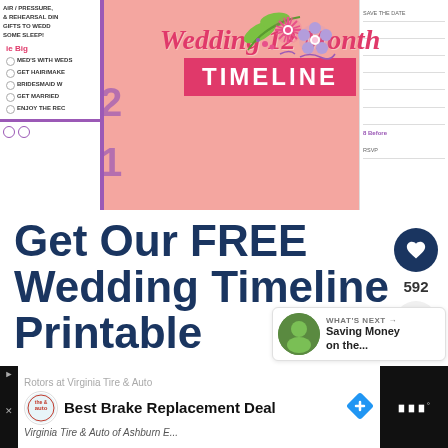[Figure (illustration): Wedding 12 Month Timeline printable document cover image with pink background, floral decorations, script and bold text showing 'Wedding 12 Month TIMELINE', with checklist pages on left and right sides]
Get Our FREE Wedding Timeline Printable
[Figure (infographic): Social interaction sidebar with heart/like button showing 592 likes and a share button]
WHAT'S NEXT → Saving Money on the...
Rotors at Virginia Tire & Auto
Best Brake Replacement Deal
Virginia Tire & Auto of Ashburn E...